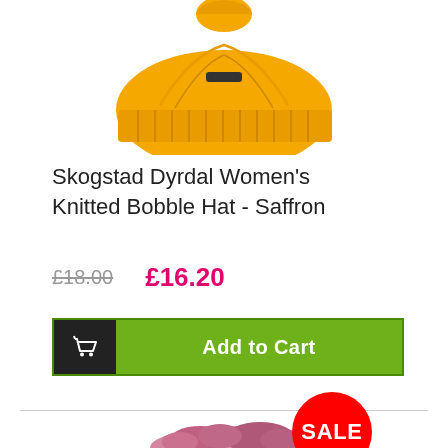[Figure (photo): Yellow knitted bobble hat (Skogstad Dyrdal) partially visible at top of page, saffron/yellow color]
Skogstad Dyrdal Women's Knitted Bobble Hat - Saffron
£18.00  £16.20
Add to Cart
[Figure (photo): Pink/purple fluffy bobble hat partially visible at bottom of page with red SALE badge overlay]
SALE